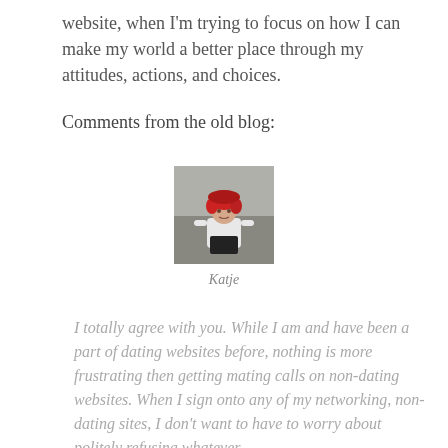website, when I'm trying to focus on how I can make my world a better place through my attitudes, actions, and choices.
Comments from the old blog:
[Figure (photo): Small avatar photo of a person with red hair wearing a white shirt, outdoors background]
Katje
I totally agree with you. While I am and have been a part of dating websites before, nothing is more frustrating then getting mating calls on non-dating websites. When I sign onto any of my networking, non-dating sites, I don't want to have to worry about politely refusing whatever